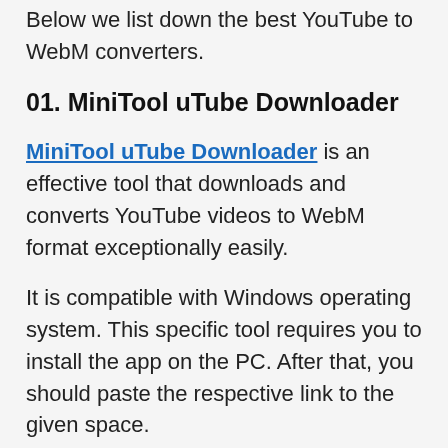Below we list down the best YouTube to WebM converters.
01. MiniTool uTube Downloader
MiniTool uTube Downloader is an effective tool that downloads and converts YouTube videos to WebM format exceptionally easily.
It is compatible with Windows operating system. This specific tool requires you to install the app on the PC. After that, you should paste the respective link to the given space.
After that, you can select the WebM as the...